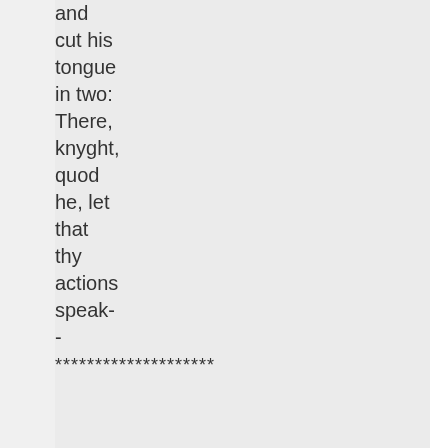and
cut his
tongue
in two:
There,
knyght,
quod
he, let
that
thy
actions
speak-
-
********************
No. 2
Oh
Truth!
immortal
daughter
of the
skies,
Too
lyttle
known
to
wryters
of
these
daies,
Teach
me,